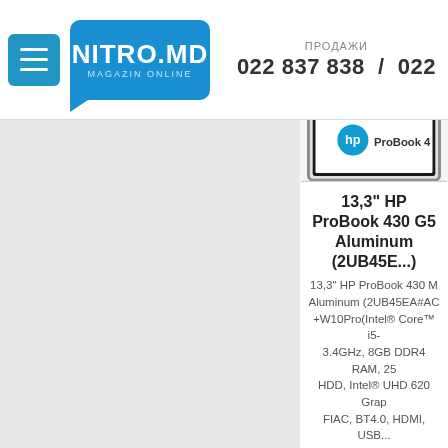[Figure (logo): Nitro.MD Magazin Online logo - blue rounded rectangle with white text, menu hamburger button in blue square]
ПРОДАЖИ
022 837 838 / 022
[Figure (photo): HP ProBook 430 laptop with HP logo on screen, silver aluminum body, shown open at angle]
13,3" HP ProBook 430 G5 Aluminum (2UB45E...)
13,3" HP ProBook 430 M Aluminum (2UB45EA#AC +W10Pro(Intel® Core™ i5- 3.4GHz, 8GB DDR4 RAM, 25 HDD, Intel® UHD 620 Grap FIAC, BT4.0, HDMI, USB...